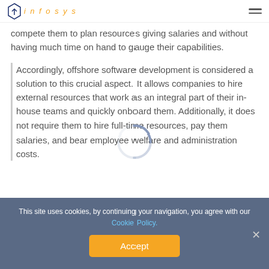Fortuneinfosys
compete them to plan resources giving salaries and without having much time on hand to gauge their capabilities.
Accordingly, offshore software development is considered a solution to this crucial aspect. It allows companies to hire external resources that work as an integral part of their in-house teams and quickly onboard them. Additionally, it does not require them to hire full-time resources, pay them salaries, and bear employee welfare and administration costs.
This site uses cookies, by continuing your navigation, you agree with our Cookie Policy.